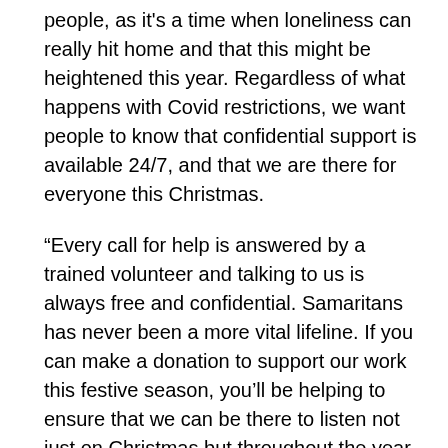people, as it's a time when loneliness can really hit home and that this might be heightened this year. Regardless of what happens with Covid restrictions, we want people to know that confidential support is available 24/7, and that we are there for everyone this Christmas.
“Every call for help is answered by a trained volunteer and talking to us is always free and confidential. Samaritans has never been a more vital lifeline. If you can make a donation to support our work this festive season, you’ll be helping to ensure that we can be there to listen not just on Christmas but throughout the year.
“And if you find yourself struggling this Christmas, please remember you don’t have to face things alone. You can talk to us, day or night, on 116 123 or by emailing jo@samaritans.org.”